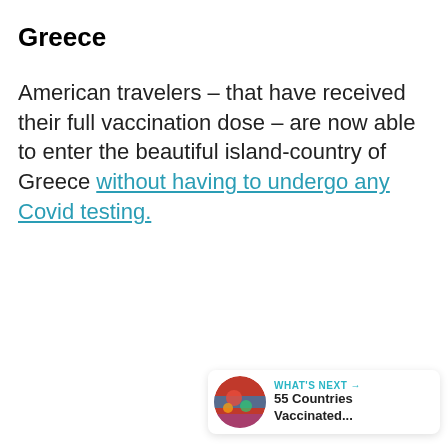Greece
American travelers – that have received their full vaccination dose – are now able to enter the beautiful island-country of Greece without having to undergo any Covid testing.
[Figure (screenshot): UI widget showing a teal heart/like button with count 49, a share button, and a 'What's Next' card showing '55 Countries Vaccinated...' with a thumbnail image]